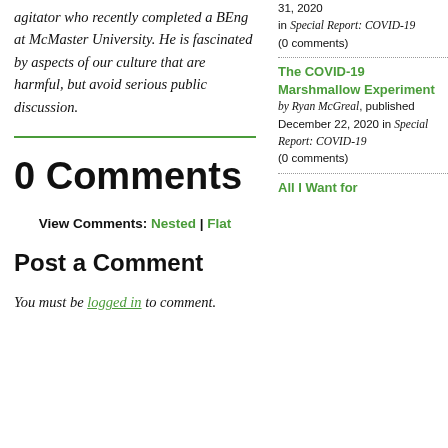agitator who recently completed a BEng at McMaster University. He is fascinated by aspects of our culture that are harmful, but avoid serious public discussion.
0 Comments
View Comments: Nested | Flat
Post a Comment
You must be logged in to comment.
31, 2020 in Special Report: COVID-19 (0 comments)
The COVID-19 Marshmallow Experiment by Ryan McGreal, published December 22, 2020 in Special Report: COVID-19 (0 comments)
All I Want for